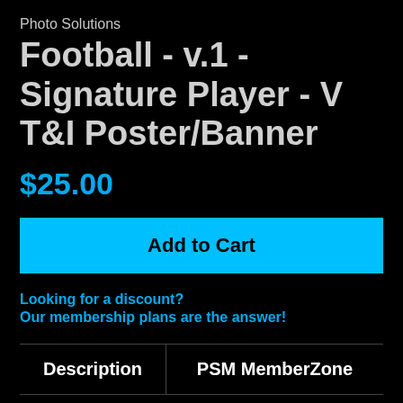Photo Solutions
Football - v.1 - Signature Player - V T&I Poster/Banner
$25.00
Add to Cart
Looking for a discount?
Our membership plans are the answer!
| Description | PSM MemberZone |
| --- | --- |